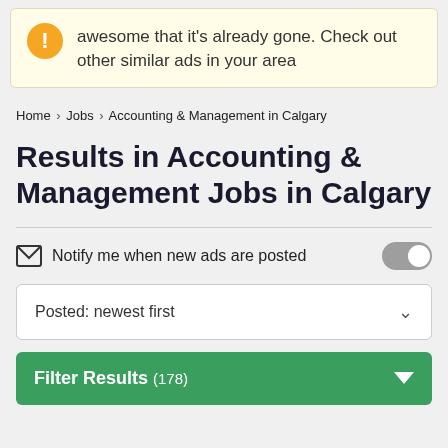awesome that it's already gone. Check out other similar ads in your area
Home › Jobs › Accounting & Management in Calgary
Results in Accounting & Management Jobs in Calgary
Notify me when new ads are posted
Posted: newest first
Filter Results (178)